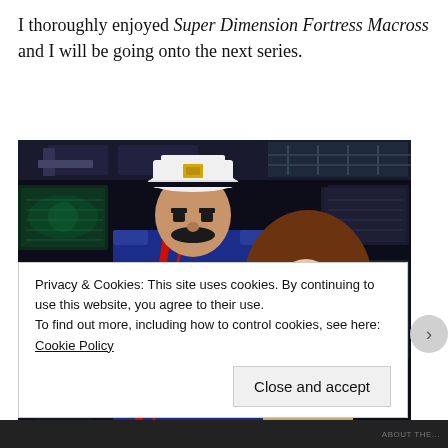I thoroughly enjoyed Super Dimension Fortress Macross and I will be going onto the next series.
[Figure (illustration): Anime screenshot from Super Dimension Fortress Macross showing two characters: a tall male character in a dark blue military uniform with red trim and white captain's hat with mustache, and a female character with long brown hair wearing a light-colored outfit, standing in what appears to a spaceship bridge/cockpit with screens and controls in the background.]
Privacy & Cookies: This site uses cookies. By continuing to use this website, you agree to their use.
To find out more, including how to control cookies, see here: Cookie Policy
Close and accept